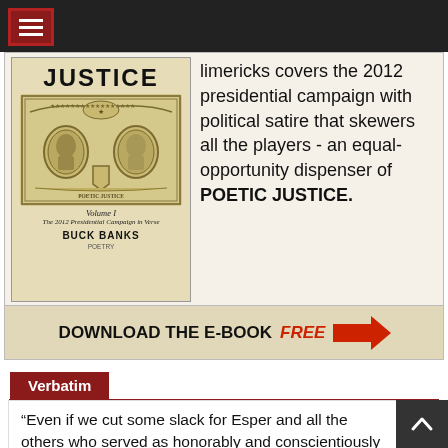[Figure (illustration): Book cover for 'Poetic Justice Volume I: The 2012 Presidential Campaign in Verse' by Buck Banks, showing two portrait medallions on a currency-style design, beige/cream background.]
limericks covers the 2012 presidential campaign with political satire that skewers all the players - an equal-opportunity dispenser of POETIC JUSTICE.
DOWNLOAD THE E-BOOK FREE →
Verbatim
“Even if we cut some slack for Esper and all the others who served as honorably and conscientiously as they could until they were faced with either the dead end of resignation or being fired, the fact is that these men and women remained